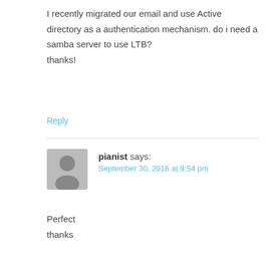I recently migrated our email and use Active directory as a authentication mechanism. do i need a samba server to use LTB?

thanks!
Reply
pianist says:
September 30, 2016 at 9:54 pm
Perfect

thanks